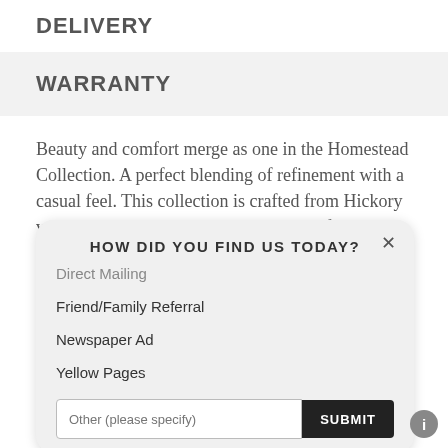DELIVERY
WARRANTY
Beauty and comfort merge as one in the Homestead Collection. A perfect blending of refinement with a casual feel. This collection is crafted from Hickory veneers in split heart cathedrals that are finished in a burnished sage with gray
HOW DID YOU FIND US TODAY?
Direct Mailing
Friend/Family Referral
Newspaper Ad
Yellow Pages